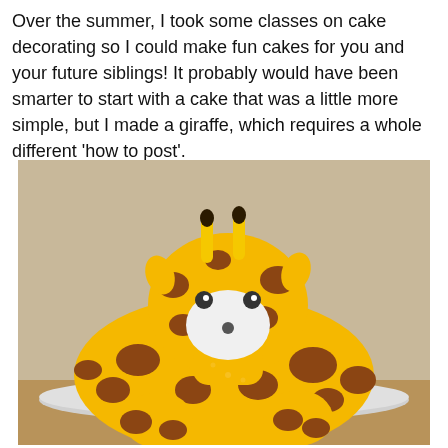Over the summer, I took some classes on cake decorating so I could make fun cakes for you and your future siblings! It probably would have been smarter to start with a cake that was a little more simple, but I made a giraffe, which requires a whole different 'how to post'.
[Figure (photo): A decorative giraffe cake made with yellow and brown spotted frosting, shaped like a cartoon giraffe with a round head, ossicones (horns), and a white muzzle area, sitting on a silver cake board.]